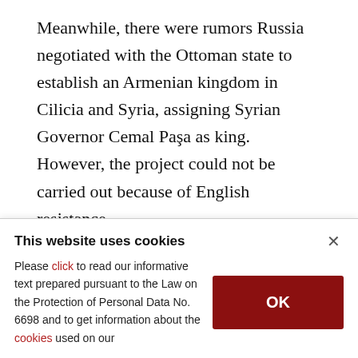Meanwhile, there were rumors Russia negotiated with the Ottoman state to establish an Armenian kingdom in Cilicia and Syria, assigning Syrian Governor Cemal Paşa as king. However, the project could not be carried out because of English resistance.

At that time, Turkey was under the influence of Germany. The incidents that occurred during the deportation did not take place without Germany's
This website uses cookies
Please click to read our informative text prepared pursuant to the Law on the Protection of Personal Data No. 6698 and to get information about the cookies used on our